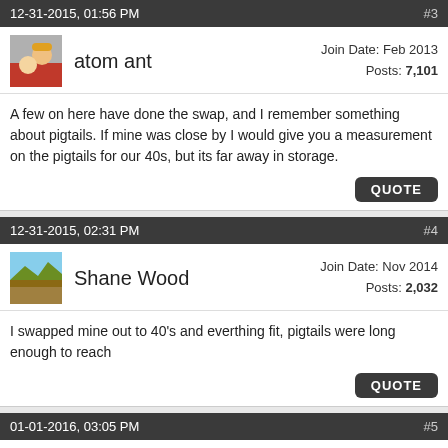12-31-2015, 01:56 PM  #3
atom ant  Join Date: Feb 2013  Posts: 7,101
A few on here have done the swap, and I remember something about pigtails. If mine was close by I would give you a measurement on the pigtails for our 40s, but its far away in storage.
12-31-2015, 02:31 PM  #4
Shane Wood  Join Date: Nov 2014  Posts: 2,032
I swapped mine out to 40's and everthing fit, pigtails were long enough to reach
01-01-2016, 03:05 PM  #5
mhs4771  Join Date: Jan 2012  Posts: 2,759